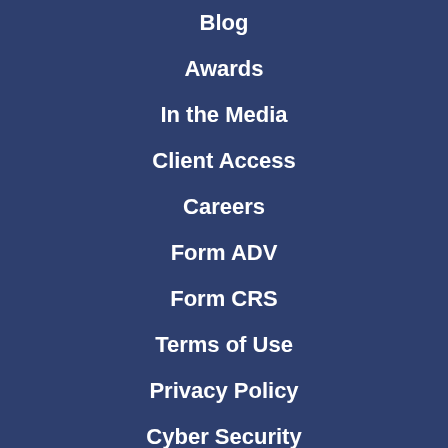Blog
Awards
In the Media
Client Access
Careers
Form ADV
Form CRS
Terms of Use
Privacy Policy
Cyber Security
Business Continuity